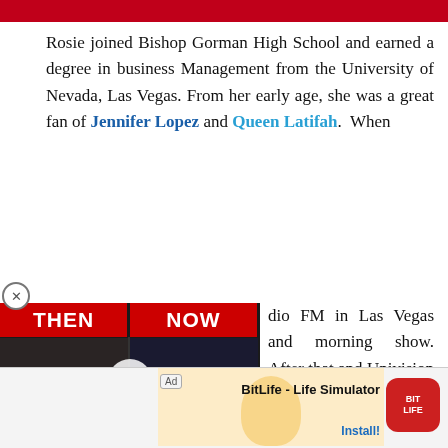Rosie joined Bishop Gorman High School and earned a degree in business Management from the University of Nevada, Las Vegas. From her early age, she was a great fan of Jennifer Lopez and Queen Latifah. When [she worked at] dio FM in Las Vegas and [hosted the] morning show. After that [she worked at] o and Univision doing red [carpet coverage of] erent celebrities
[Figure (screenshot): WatchMojo Then and Now video thumbnail showing two groups of people]
[Figure (screenshot): BitLife Life Simulator advertisement banner with baby graphic and install button]